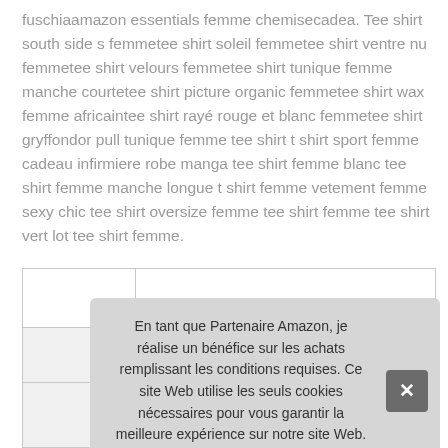fuschiaamazon essentials femme chemisecadea. Tee shirt south side s femmetee shirt soleil femmetee shirt ventre nu femmetee shirt velours femmetee shirt tunique femme manche courtetee shirt picture organic femmetee shirt wax femme africaintee shirt rayé rouge et blanc femmetee shirt gryffondor pull tunique femme tee shirt t shirt sport femme cadeau infirmiere robe manga tee shirt femme blanc tee shirt femme manche longue t shirt femme vetement femme sexy chic tee shirt oversize femme tee shirt femme tee shirt vert lot tee shirt femme.
|  |  |
|  |  |
|  |  |
En tant que Partenaire Amazon, je réalise un bénéfice sur les achats remplissant les conditions requises. Ce site Web utilise les seuls cookies nécessaires pour vous garantir la meilleure expérience sur notre site Web. Plus d'information